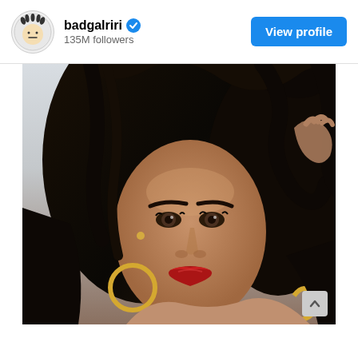badgalriri [verified] 135M followers
[Figure (photo): Portrait photo of a woman with long wavy black hair, bold red lips, gold hoop earrings, looking directly at camera. Background is light/outdoor. Instagram post style photo from badgalriri account.]